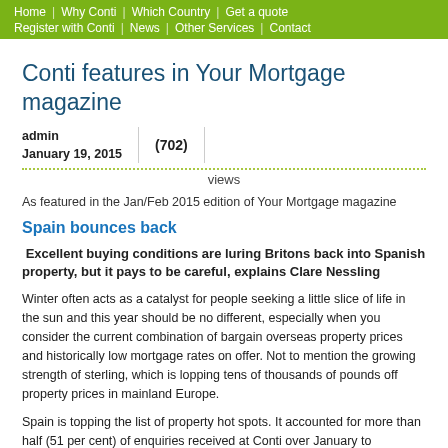Home | Why Conti | Which Country | Get a quote | Register with Conti | News | Other Services | Contact
Conti features in Your Mortgage magazine
admin
January 19, 2015
(702)
views
As featured in the Jan/Feb 2015 edition of Your Mortgage magazine
Spain bounces back
Excellent buying conditions are luring Britons back into Spanish property, but it pays to be careful, explains Clare Nessling
Winter often acts as a catalyst for people seeking a little slice of life in the sun and this year should be no different, especially when you consider the current combination of bargain overseas property prices and historically low mortgage rates on offer. Not to mention the growing strength of sterling, which is lopping tens of thousands of pounds off property prices in mainland Europe.
Spain is topping the list of property hot spots. It accounted for more than half (51 per cent) of enquiries received at Conti over January to September 2014,